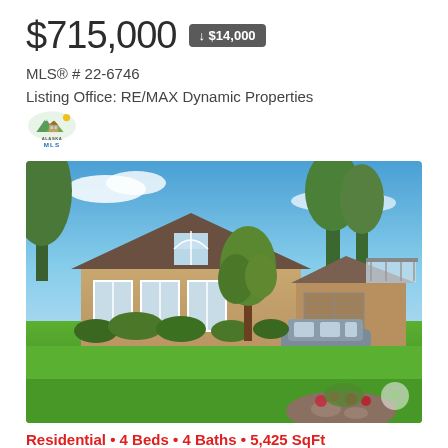$715,000 ↓ $14,000
MLS® # 22-6746
Listing Office: RE/MAX Dynamic Properties
[Figure (logo): Alaska MLS logo with mountain/house graphic and blue MLS text]
[Figure (photo): Exterior photo of a tan/beige single-story residential home with brown roof, arched window above entry, attached carport with SUV parked, lush green lawn and landscaping, blue sky with clouds, tall evergreen trees in background.]
Residential • 4 Beds • 4 Baths • 5,425 SqFt